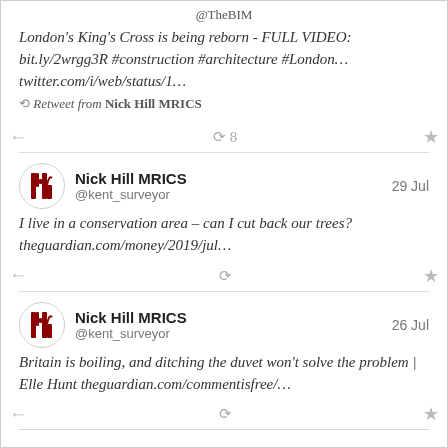@TheBIM
London's King's Cross is being reborn - FULL VIDEO: bit.ly/2wrgg3R #construction #architecture #London… twitter.com/i/web/status/1…
Retweet from Nick Hill MRICS
8 retweets
Nick Hill MRICS @kent_surveyor 29 Jul
I live in a conservation area – can I cut back our trees? theguardian.com/money/2019/jul…
Nick Hill MRICS @kent_surveyor 26 Jul
Britain is boiling, and ditching the duvet won't solve the problem | Elle Hunt theguardian.com/commentisfree/…